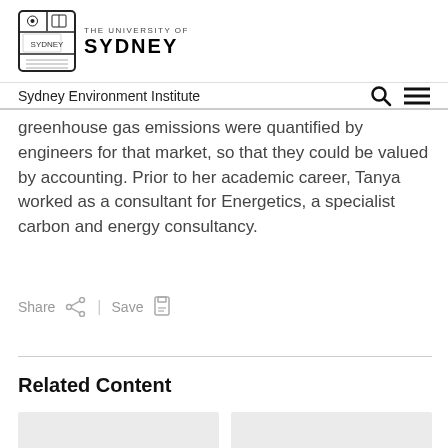Sydney Environment Institute
greenhouse gas emissions were quantified by engineers for that market, so that they could be valued by accounting. Prior to her academic career, Tanya worked as a consultant for Energetics, a specialist carbon and energy consultancy.
Share | Save
Related Content